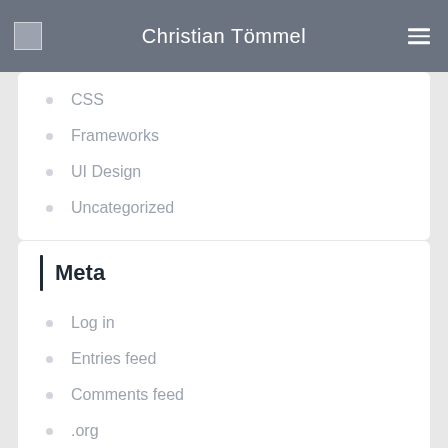Christian Tömmel
CSS
Frameworks
UI Design
Uncategorized
Meta
Log in
Entries feed
Comments feed
.org
© 2020 Christian Tömmel